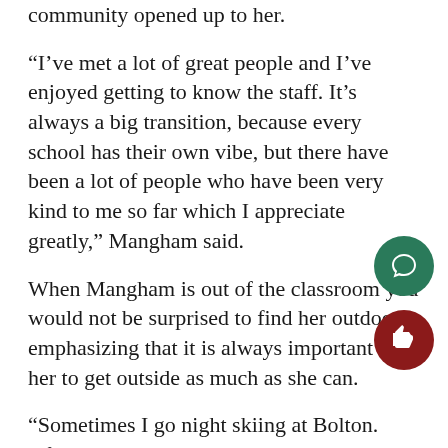community opened up to her.
“I’ve met a lot of great people and I’ve enjoyed getting to know the staff. It’s always a big transition, because every school has their own vibe, but there have been a lot of people who have been very kind to me so far which I appreciate greatly,” Mangham said.
When Mangham is out of the classroom you would not be surprised to find her outdoors, emphasizing that it is always important for her to get outside as much as she can.
“Sometimes I go night skiing at Bolton. After work I like to be outside, so I like to go on walks with friends… Really just being outside after work is always nice,” Mangham said.
Mangham is a teacher who gives the impression of being very easy to work with. It is clear that although hardly a...